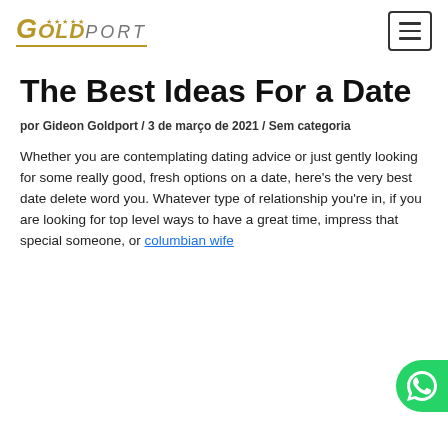GOLDPORT ★★★★★ [logo] [menu button]
The Best Ideas For a Date
por Gideon Goldport / 3 de março de 2021 / Sem categoria
Whether you are contemplating dating advice or just gently looking for some really good, fresh options on a date, here's the very best date delete word you. Whatever type of relationship you're in, if you are looking for top level ways to have a great time, impress that special someone, or columbian wife